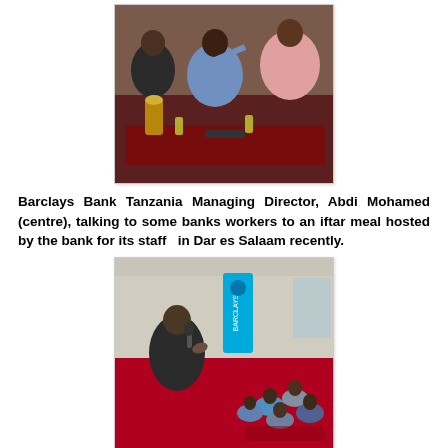[Figure (photo): Men sitting at a table during an iftar meal event, with food and drinks on the table. The Barclays Bank Tanzania Managing Director Abdi Mohamed is in the centre talking to bank workers.]
Barclays Bank Tanzania Managing Director, Abdi Mohamed (centre), talking to some banks workers to an iftar meal hosted by the bank for its staff  in Dar es Salaam recently.
[Figure (photo): A man standing and speaking into a microphone at a Barclays-branded event, with a group of people seated on the floor in the background in a room decorated with red carpet.]
Barclays Bank Marketing Manager, Joe Bendera (left),